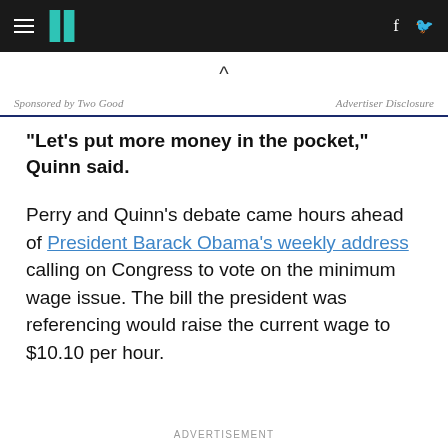HuffPost navigation with hamburger menu, logo, Facebook and Twitter icons
Sponsored by Two Good   Advertiser Disclosure
"Let's put more money in the pocket," Quinn said.
Perry and Quinn's debate came hours ahead of President Barack Obama's weekly address calling on Congress to vote on the minimum wage issue. The bill the president was referencing would raise the current wage to $10.10 per hour.
ADVERTISEMENT